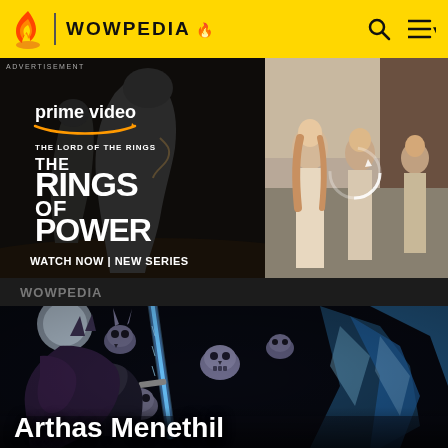WOWPEDIA
[Figure (screenshot): Amazon Prime Video advertisement for 'The Lord of the Rings: The Rings of Power' showing dark-cloaked figure and female characters; text reads 'prime video', 'THE LORD OF THE RINGS THE RINGS OF POWER', 'WATCH NOW | NEW SERIES']
ADVERTISEMENT
[Figure (illustration): Wowpedia hero image showing dark fantasy artwork of a skeletal/undead warrior character holding a glowing blue sword with skull decorations, dark purple and blue tones]
Arthas Menethil